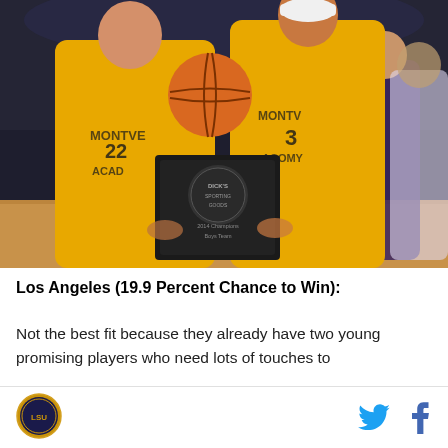[Figure (photo): Two basketball players in gold Montverde Academy jerseys (numbers 22 and 3) holding a Dick's Sporting Goods tournament championship trophy. A basketball is visible above the trophy. Other players in purple and white jerseys are visible in the background on an indoor basketball court.]
Los Angeles (19.9 Percent Chance to Win):
Not the best fit because they already have two young promising players who need lots of touches to
[Figure (logo): Circular logo with gold border]